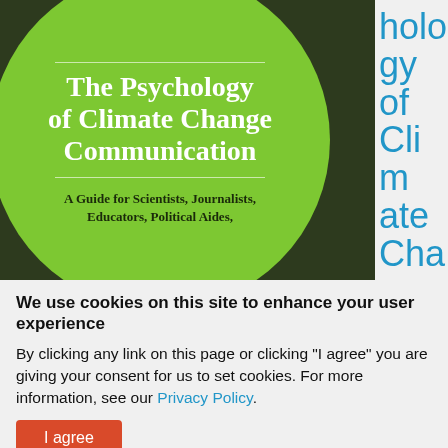[Figure (illustration): Book cover for 'The Psychology of Climate Change Communication: A Guide for Scientists, Journalists, Educators, Political Aides,' showing white bold title text on a large green circle against a dark olive/green background. Green circle has decorative horizontal lines above and below the title. Subtitle text is in dark color below second line.]
We use cookies on this site to enhance your user experience
By clicking any link on this page or clicking "I agree" you are giving your consent for us to set cookies. For more information, see our Privacy Policy.
I agree